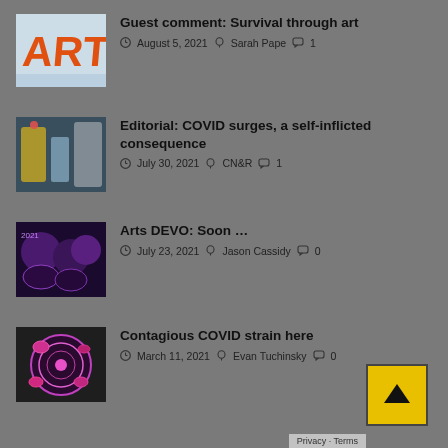Guest comment: Survival through art — August 5, 2021 — Sarah Pape — 1 comment
Editorial: COVID surges, a self-inflicted consequence — July 30, 2021 — CN&R — 1 comment
Arts DEVO: Soon … — July 23, 2021 — Jason Cassidy — 0 comments
Contagious COVID strain here — March 11, 2021 — Evan Tuchinsky — 0 comments